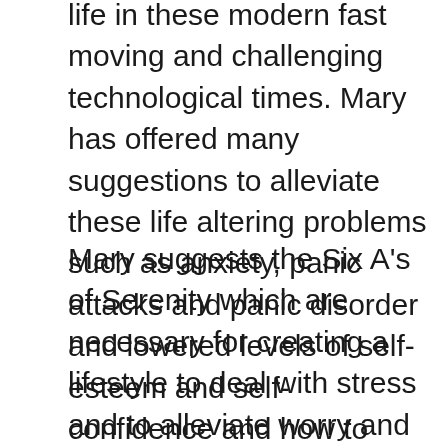life in these modern fast moving and challenging technological times. Mary has offered many suggestions to alleviate these life altering problems such as anxiety, panic attacks and panic disorder and lowered levels of self-esteem and self-confidence and how to approach the best version of yourself.
Mary suggests the Six A's of Serenity which are necessary for creating a lifestyle to deal with stress and to alleviate worry and fear to live in a state of harmony peace and love beyond restlessness fear pain and worry. The 6 A's are Awareness acceptance adjustment attitude affirmation and achievement. They are indeed a necessary element for becoming the person